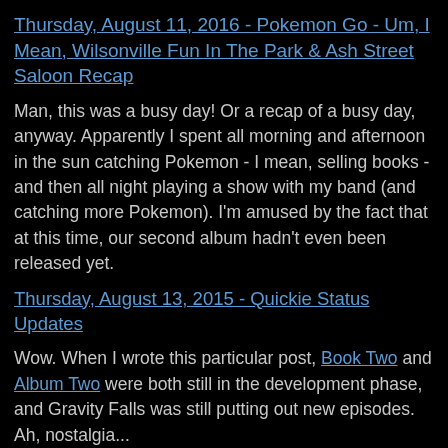Thursday, August 11, 2016 - Pokemon Go - Um, I Mean, Wilsonville Fun In The Park & Ash Street Saloon Recap
Man, this was a busy day! Or a recap of a busy day, anyway. Apparently I spent all morning and afternoon in the sun catching Pokemon - I mean, selling books - and then all night playing a show with my band (and catching more Pokemon). I'm amused by the fact that at this time, our second album hadn't even been released yet.
Thursday, August 13, 2015 - Quickie Status Updates
Wow. When I wrote this particular post, Book Two and Album Two were both still in the development phase, and Gravity Falls was still putting out new episodes. Ah, nostalgia...
Thursday, August 28, 2014 - Random Thoughts: Doctor Who & Video Game Update
Peter Capaldi had just started his run as the Doctor, and Hyrule Warriors hadn't even come out yet.